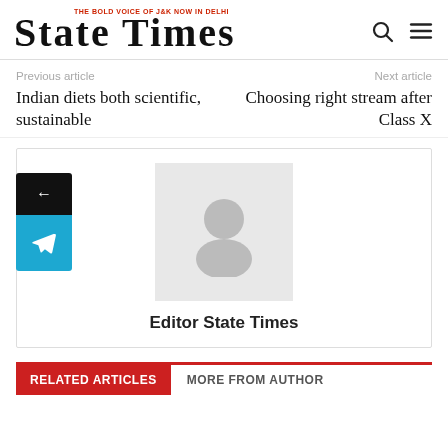STATE TIMES — THE BOLD VOICE OF J&K NOW IN DELHI
Previous article
Next article
Indian diets both scientific, sustainable
Choosing right stream after Class X
[Figure (photo): Author avatar placeholder with person silhouette icon]
Editor State Times
RELATED ARTICLES   MORE FROM AUTHOR